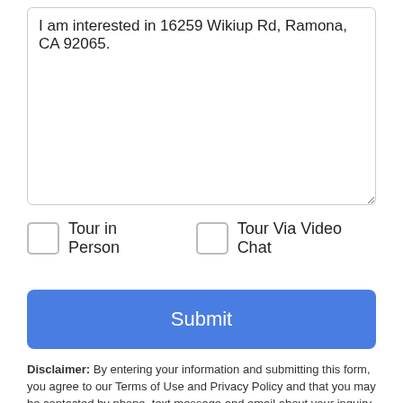I am interested in 16259 Wikiup Rd, Ramona, CA 92065.
Tour in Person   Tour Via Video Chat
Submit
Disclaimer: By entering your information and submitting this form, you agree to our Terms of Use and Privacy Policy and that you may be contacted by phone, text message and email about your inquiry.
Based on information from California Regional Multiple Listing
Take a Tour
Ask A Question